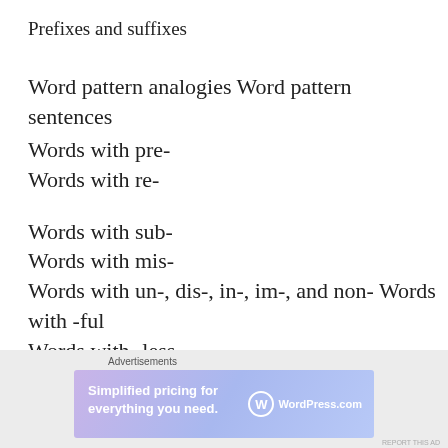Prefixes and suffixes
Word pattern analogies Word pattern sentences
Words with pre-
Words with re-
Words with sub-
Words with mis-
Words with un-, dis-, in-, im-, and non- Words with -ful
Words with -less
[Figure (other): WordPress.com advertisement banner: 'Simplified pricing for everything you need.' with WordPress.com logo on gradient purple-blue background]